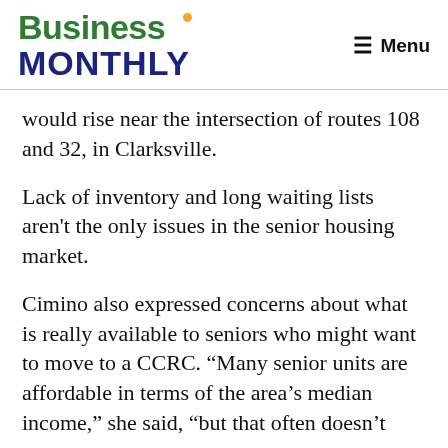Business Monthly | Menu
would rise near the intersection of routes 108 and 32, in Clarksville.
Lack of inventory and long waiting lists aren’t the only issues in the senior housing market.
Cimino also expressed concerns about what is really available to seniors who might want to move to a CCRC. “Many senior units are affordable in terms of the area’s median income,” she said, “but that often doesn’t